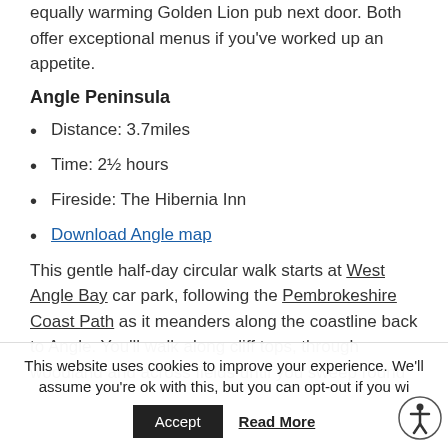equally warming Golden Lion pub next door. Both offer exceptional menus if you've worked up an appetite.
Angle Peninsula
Distance: 3.7miles
Time: 2½ hours
Fireside: The Hibernia Inn
Download Angle map
This gentle half-day circular walk starts at West Angle Bay car park, following the Pembrokeshire Coast Path as it meanders along the coastline back to Angle. You'll walk along cliff tops, through woodland and across fields until you sweep round
This website uses cookies to improve your experience. We'll assume you're ok with this, but you can opt-out if you wi